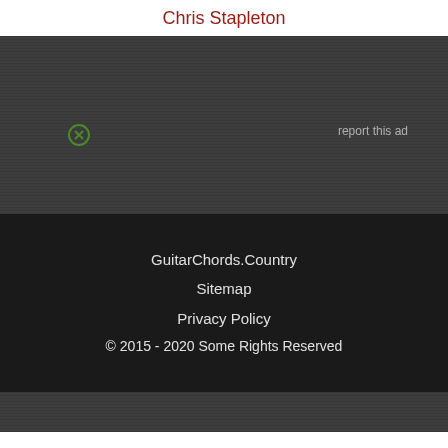Chris Stapleton
[Figure (other): Advertisement banner with dark textured background, green no-ad icon on left, 'report this ad' text on right]
GuitarChords.Country
Sitemap
Privacy Policy
© 2015 - 2020 Some Rights Reserved